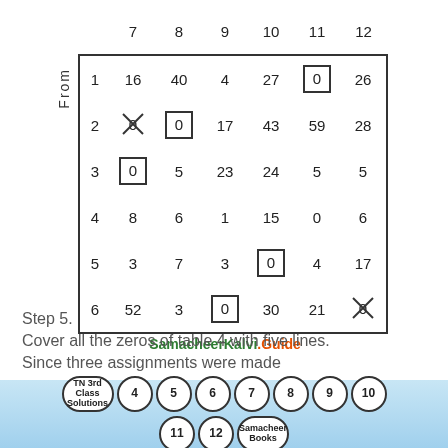[Figure (table-as-image): A 6x6 matrix labeled 'From' on the left (rows 1-6) and columns 7-12. Contains numeric values with some cells marked with boxed zeros and crossed-out zeros indicating assignments. Row 1: 16,40,4,27,[0](boxed),26. Row 2: X(crossed),8 [0](boxed),17,43,59,28. Row 3: [0](boxed),5,23,24,5,5. Row 4: 8,6,1,15,0,6. Row 5: 3,7,3,[0](boxed),4,17. Row 6: 52,3,[0](boxed),30,21,X(crossed).]
SamacheerKalvi.Guide
Step 5.
Cover all the zeros of table 4 with five lines.
Since three assignments were made
TN 3rd Class Solutions 4 5 6 7 8 9 10 11 12 Samacheer Books